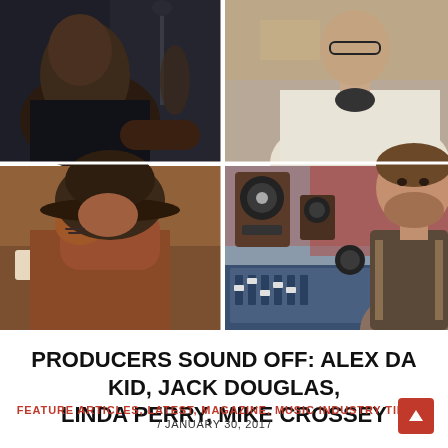[Figure (photo): 2x2 grid of four music producer photos: top-left is a darker-skinned man in a recording studio, top-right is an older man with glasses, bottom-left is a person wearing a hat with hands near face, bottom-right is a bearded man in a recording studio with mixing console and speakers]
PRODUCERS SOUND OFF: ALEX DA KID, JACK DOUGLAS, LINDA PERRY, MIKE CROSSEY
FEATURE ARTICLES, LATEST, MAGAZINE, MUSIC INDUSTRY TIPS / JANUARY 30, 2017